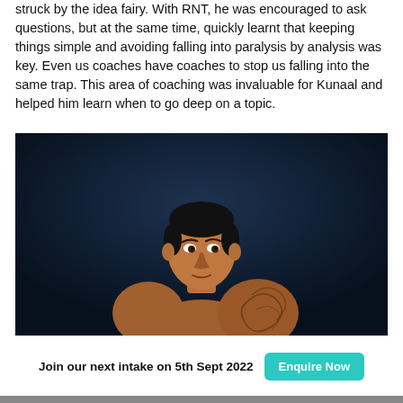struck by the idea fairy. With RNT, he was encouraged to ask questions, but at the same time, quickly learnt that keeping things simple and avoiding falling into paralysis by analysis was key. Even us coaches have coaches to stop us falling into the same trap. This area of coaching was invaluable for Kunaal and helped him learn when to go deep on a topic.
[Figure (photo): A shirtless man with a tattoo on his shoulder/upper arm, photographed against a dark navy blue background, looking directly at the camera.]
Join our next intake on 5th Sept 2022
Enquire Now